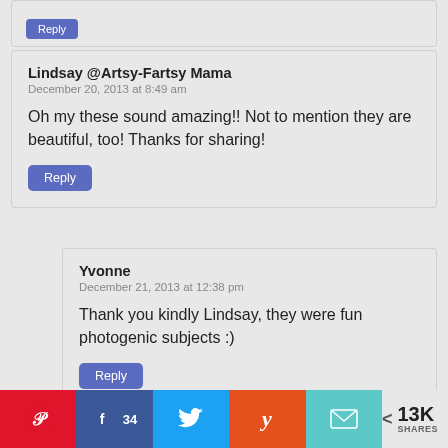Reply (partial, top)
Lindsay @Artsy-Fartsy Mama
December 20, 2013 at 8:49 am

Oh my these sound amazing!! Not to mention they are beautiful, too! Thanks for sharing!

Reply
Yvonne
December 21, 2013 at 12:38 pm

Thank you kindly Lindsay, they were fun photogenic subjects :)

Reply
34  13K SHARES